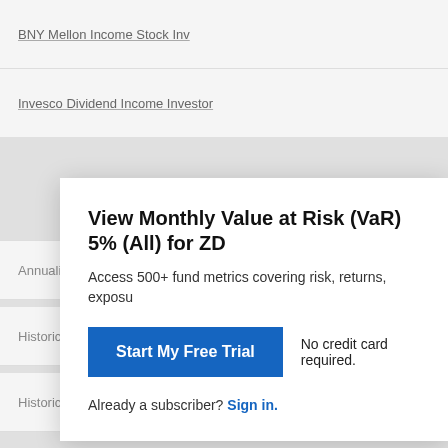BNY Mellon Income Stock Inv
Invesco Dividend Income Investor
View Monthly Value at Risk (VaR) 5% (All) for ZD
Access 500+ fund metrics covering risk, returns, exposu
Start My Free Trial
No credit card required.
Already a subscriber? Sign in.
Annualized Standard Deviation of Monthly Returns (All)
Historical Sharpe Ratio (All)
Historical Sortino (All)